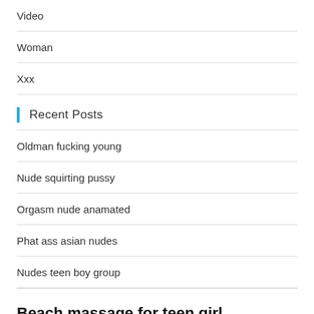Video
Woman
Xxx
Recent Posts
Oldman fucking young
Nude squirting pussy
Orgasm nude anamated
Phat ass asian nudes
Nudes teen boy group
Beach massage for teen girl